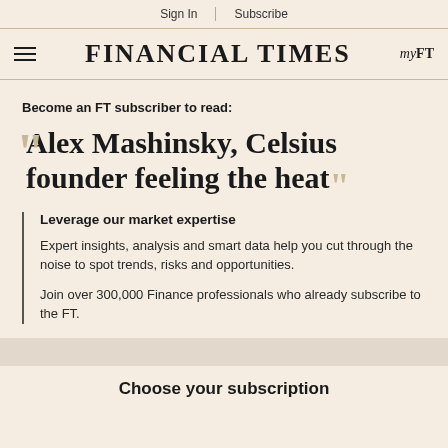Sign In | Subscribe
FINANCIAL TIMES  myFT
Become an FT subscriber to read:
Alex Mashinsky, Celsius founder feeling the heat
Leverage our market expertise
Expert insights, analysis and smart data help you cut through the noise to spot trends, risks and opportunities.
Join over 300,000 Finance professionals who already subscribe to the FT.
Choose your subscription